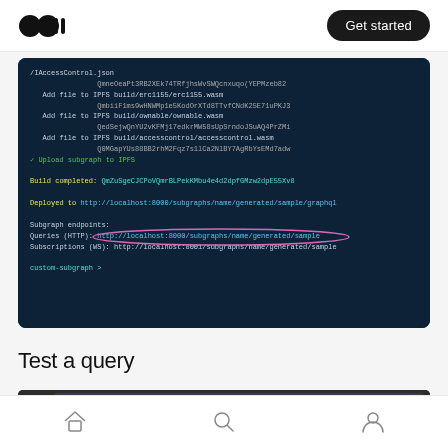Medium logo | Get started
[Figure (screenshot): Terminal output showing IPFS build and deployment steps, including 'Build completed' hash and 'Deployed to' URL, subgraph endpoints with Queries (HTTP) URL circled in pink, and custom-subgraph prompt.]
Test a query
[Figure (screenshot): Browser window screenshot showing a GraphQL query interface at localhost:8000]
Home | Search | Profile navigation icons